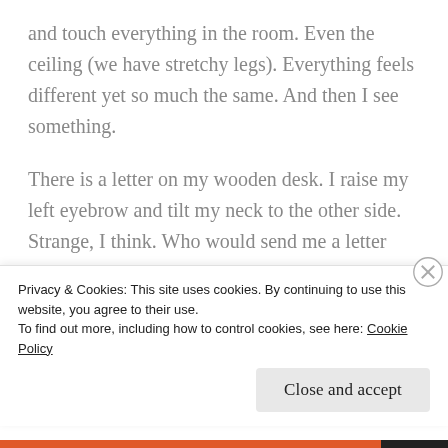and touch everything in the room. Even the ceiling (we have stretchy legs). Everything feels different yet so much the same. And then I see something.
There is a letter on my wooden desk. I raise my left eyebrow and tilt my neck to the other side. Strange, I think. Who would send me a letter and how did it come up in my room? More importantly, how did I get in my room? My old room. Which I bid farewell to 10 years ago.
I bring the letter to my bed and tear the envelope
Privacy & Cookies: This site uses cookies. By continuing to use this website, you agree to their use.
To find out more, including how to control cookies, see here: Cookie Policy
Close and accept